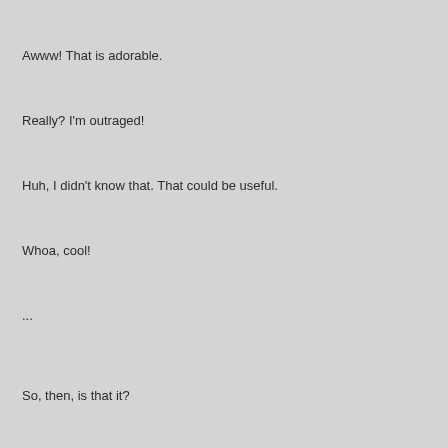Awww! That is adorable.
Really? I'm outraged!
Huh, I didn't know that. That could be useful.
Whoa, cool!
...
So, then, is that it?